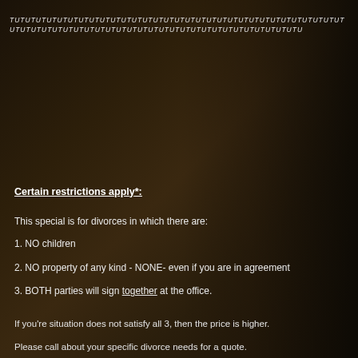TUTUTUTUTUTUTUTUTUTUTUTUTUTUTUTUTUTUTUTUTUTUTUTUTUTUTUTUTUTUTUTUTUTUTUTUTUTUTUTUTUTUTUTUTUTUTUTUTUTUTUTUTUTUTUTUTUTUTU
Certain restrictions apply*:
This special is for divorces in which there are:
1. NO children
2. NO property of any kind - NONE- even if you are in agreement
3. BOTH parties will sign together at the office.
If you're situation does not satisfy all 3, then the price is higher.
Please call about your specific divorce needs for a quote.
The quote usually may be done over the phone. For more complex cases a consultation is necessary. The consultation fee is $50.